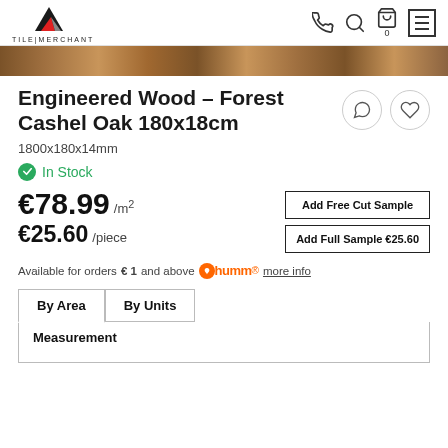TILE|MERCHANT
[Figure (photo): Close-up photo of engineered wood flooring with oak grain texture]
Engineered Wood – Forest Cashel Oak 180x18cm
1800x180x14mm
In Stock
€78.99 /m²
€25.60 /piece
Add Free Cut Sample
Add Full Sample €25.60
Available for orders € 1 and above humm more info
By Area
By Units
Measurement